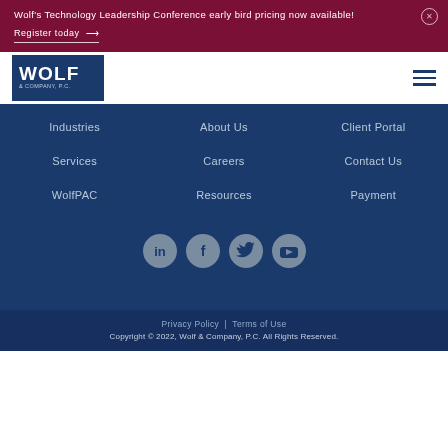Wolf's Technology Leadership Conference early bird pricing now available!
Register today →
[Figure (logo): Wolf & Company, P.C. logo — dark blue background with white text 'WOLF' large and '& COMPANY, P.C.' smaller below]
Industries
About Us
Client Portal
Services
Careers
Contact Us
WolfPAC
Resources
Payment
[Figure (infographic): Four circular social media icons: LinkedIn, Facebook, Twitter, YouTube — grey circles with dark blue icons]
Privacy Policy | Terms of Use
Copyright © 2022, Wolf & Company, P.C. All Rights Reserved.